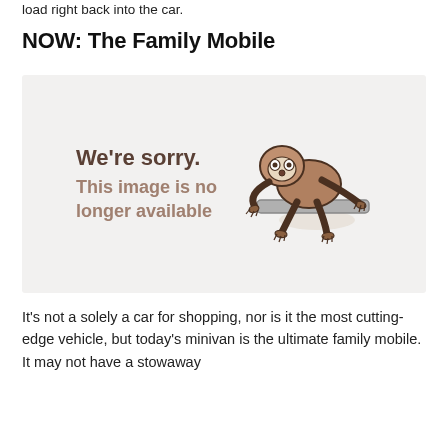load right back into the car.
NOW: The Family Mobile
[Figure (illustration): A 'We're sorry. This image is no longer available' placeholder with a cartoon sloth hanging from a bar, on a light grey background.]
It's not a solely a car for shopping, nor is it the most cutting-edge vehicle, but today's minivan is the ultimate family mobile. It may not have a stowaway